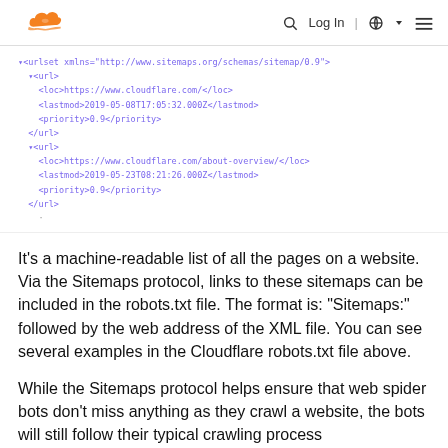Cloudflare logo | Search | Log In | Globe | Menu
[Figure (screenshot): XML sitemap code snippet showing urlset with two url entries for cloudflare.com, each with loc, lastmod, and priority tags]
It's a machine-readable list of all the pages on a website. Via the Sitemaps protocol, links to these sitemaps can be included in the robots.txt file. The format is: "Sitemaps:" followed by the web address of the XML file. You can see several examples in the Cloudflare robots.txt file above.
While the Sitemaps protocol helps ensure that web spider bots don't miss anything as they crawl a website, the bots will still follow their typical crawling process